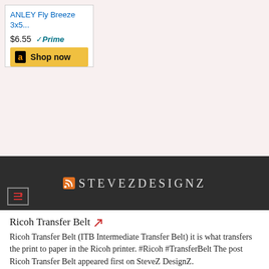[Figure (screenshot): Amazon product ad showing ANLEY Fly Breeze 3x5... priced at $6.55 with Prime badge and Shop now button]
[Figure (screenshot): SteveZ DesignZ website header bar with RSS icon and navigation icon]
Ricoh Transfer Belt
Ricoh Transfer Belt (ITB Intermediate Transfer Belt) it is what transfers the print to paper in the Ricoh printer. #Ricoh #TransferBelt The post Ricoh Transfer Belt appeared first on SteveZ DesignZ.
Privacy & Cookies: This site uses cookies. By continuing to use this website, you agree to their use.
To find out more, including how to control cookies, see here: Cookie Policy